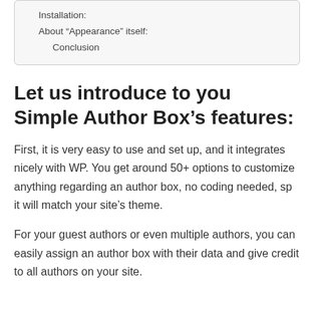Installation:
About “Appearance” itself:
Conclusion
Let us introduce to you Simple Author Box’s features:
First, it is very easy to use and set up, and it integrates nicely with WP. You get around 50+ options to customize anything regarding an author box, no coding needed, sp it will match your site’s theme.
For your guest authors or even multiple authors, you can easily assign an author box with their data and give credit to all authors on your site.